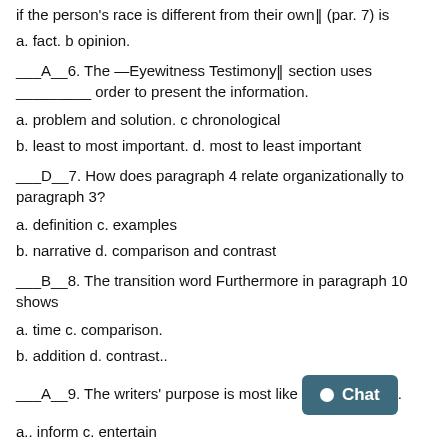if the person's race is different from their own‖ (par. 7) is
a. fact. b opinion.
___A__6. The —Eyewitness Testimony‖ section uses ________ order to present the information.
a. problem and solution. c chronological
b. least to most important. d. most to least important
___D__7. How does paragraph 4 relate organizationally to paragraph 3?
a. definition c. examples
b. narrative d. comparison and contrast
___B__8. The transition word Furthermore in paragraph 10 shows
a. time c. comparison.
b. addition d. contrast..
___A__9. The writers' purpose is most like [Chat button].
a.. inform c. entertain